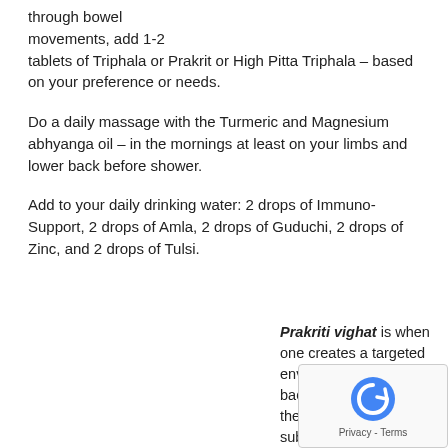through bowel movements, add 1-2 tablets of Triphala or Prakrit or High Pitta Triphala – based on your preference or needs.
Do a daily massage with the Turmeric and Magnesium abhyanga oil – in the mornings at least on your limbs and lower back before shower.
Add to your daily drinking water: 2 drops of Immuno-Support, 2 drops of Amla, 2 drops of Guduchi, 2 drops of Zinc, and 2 drops of Tulsi.
Prakriti vighat is when one creates a targeted environment for the bacteria – the krimi- subdue and